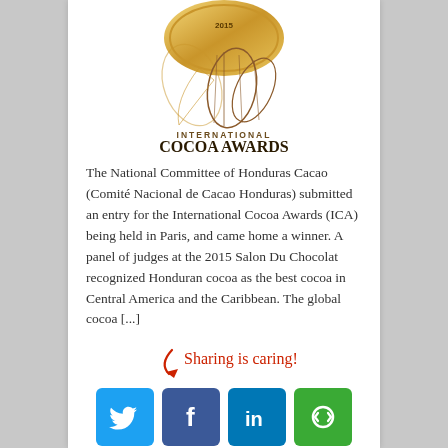[Figure (logo): International Cocoa Awards 2015 medallion logo with cocoa pod illustration, text reads INTERNATIONAL COCOA AWARDS]
The National Committee of Honduras Cacao (Comité Nacional de Cacao Honduras) submitted an entry for the International Cocoa Awards (ICA) being held in Paris, and came home a winner. A panel of judges at the 2015 Salon Du Chocolat recognized Honduran cocoa as the best cocoa in Central America and the Caribbean. The global cocoa [...]
Sharing is caring!
[Figure (infographic): Social sharing icons: Twitter (blue bird), Facebook (blue f), LinkedIn (blue in), and a green circular arrows icon, with a red arrow pointing from the Sharing is caring! text]